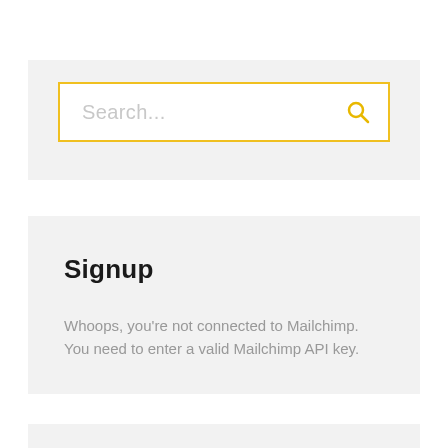[Figure (screenshot): Search bar with yellow border, placeholder text 'Search...' and yellow magnifying glass icon on grey background]
Signup
Whoops, you're not connected to Mailchimp. You need to enter a valid Mailchimp API key.